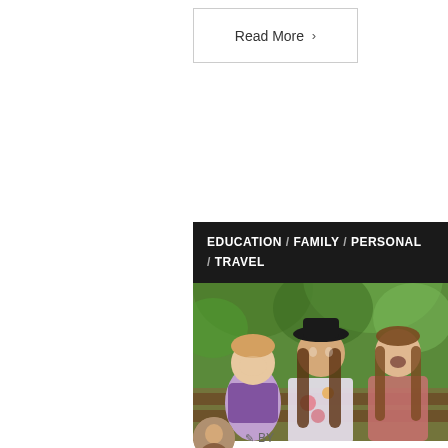Read More >
EDUCATION / FAMILY / PERSONAL / TRAVEL
[Figure (photo): Three girls sitting on a bench outdoors; a teenage girl with a black hat in the center, a young child on the left, and an older girl on the right, making funny faces]
12 Tips For Extended Travel With Children
BY